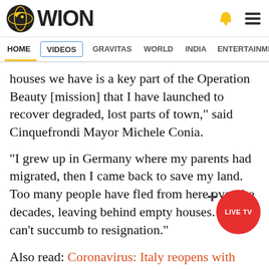[Figure (logo): WION news website header with logo (globe icon and WION text), bell icon and hamburger menu icon on the right]
HOME  VIDEOS  GRAVITAS  WORLD  INDIA  ENTERTAINMENT  SPORTS
houses we have is a key part of the Operation Beauty [mission] that I have launched to recover degraded, lost parts of town," said Cinquefrondi Mayor Michele Conia.
"I grew up in Germany where my parents had migrated, then I came back to save my land. Too many people have fled from here over the decades, leaving behind empty houses. We can't succumb to resignation."
Also read: Coronavirus: Italy reopens with strict guidelines after nearly two months